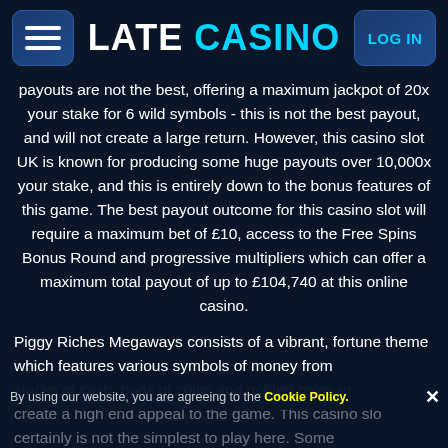LATE CASINO
payouts are not the best, offering a maximum jackpot of 20x your stake for 6 wild symbols - this is not the best payout, and will not create a large return. However, this casino slot UK is known for producing some huge payouts over 10,000x your stake, and this is entirely down to the bonus features of this game. The best payout outcome for this casino slot will require a maximum bet of £10, access to the Free Spins Bonus Round and progressive multipliers which can offer a maximum total payout of up to £104,740 at this online casino.
Piggy Riches Megaways consists of a vibrant, fortune theme which features various symbols of money from stacks of cash, bags of coins and golden coins to create a high end appeal to the game. This casino slot certainly is not the simplest to play here. Some
By using our website, you are agreeing to the Cookie Policy.